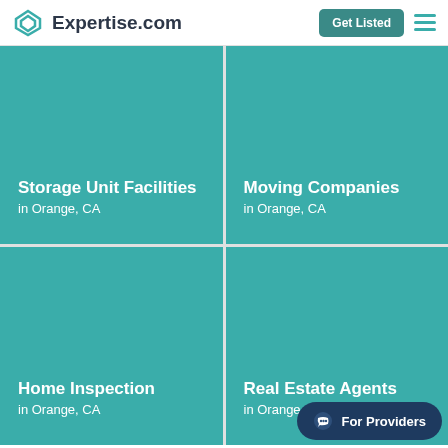Expertise.com — Get Listed
[Figure (other): Card: Storage Unit Facilities in Orange, CA — teal background]
[Figure (other): Card: Moving Companies in Orange, CA — teal background]
[Figure (other): Card: Home Inspection in Orange, CA — teal background]
[Figure (other): Card: Real Estate Agents in Orange, CA — teal background]
For Providers